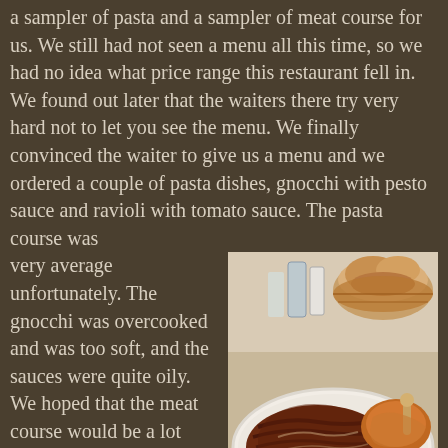a sampler of pasta and a sampler of meat course for us. We still had not seen a menu all this time, so we had no idea what price range this restaurant fell in. We found out later that the waiters there try very hard not to let you see the menu. We finally convinced the waiter to give us a menu and we ordered a couple of pasta dishes, gnocchi with pesto sauce and ravioli with tomato sauce. The pasta course was very average unfortunately. The gnocchi was overcooked and was too soft, and the sauces were quite oily. We hoped that the meat course would be a lot better, but it was disappointing as well. We ordered grilled steak and roasted chicken. The steak was quite a large cut (meant for 2 people), and it was good steak but nothing too unique. The roasted chicken was very dry though. We were quite stuffed by now, but we decided to try their almond torte dessert, and it was pretty good. The best part of the meal though was when our waiter brought out some Moscato dessert wine for us on the house.
[Figure (photo): Photo of grilled steak and roasted chicken on a white plate, with a bread basket and condiments in the background on a restaurant table.]